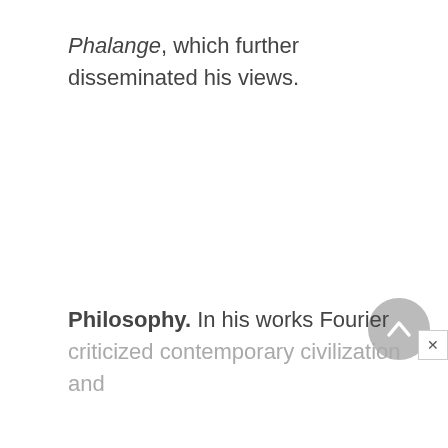Phalange, which further disseminated his views.
Philosophy. In his works Fourier criticized contemporary civilization and